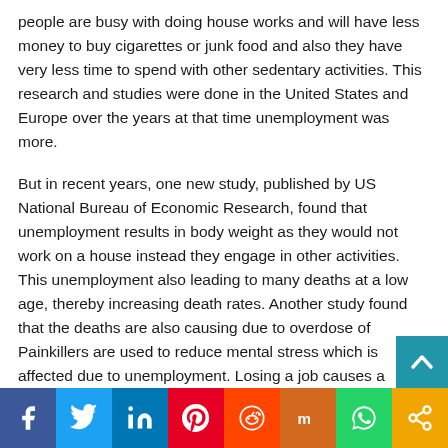people are busy with doing house works and will have less money to buy cigarettes or junk food and also they have very less time to spend with other sedentary activities. This research and studies were done in the United States and Europe over the years at that time unemployment was more.
But in recent years, one new study, published by US National Bureau of Economic Research, found that unemployment results in body weight as they would not work on a house instead they engage in other activities. This unemployment also leading to many deaths at a low age, thereby increasing death rates. Another study found that the deaths are also causing due to overdose of Painkillers are used to reduce mental stress which is affected due to unemployment. Losing a job causes a health problem which again leads to spending more money or expenses are high and affecting mortality